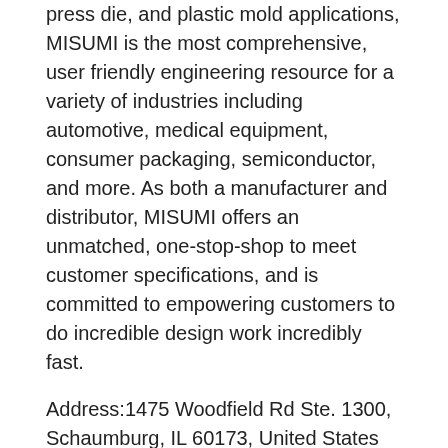press die, and plastic mold applications, MISUMI is the most comprehensive, user friendly engineering resource for a variety of industries including automotive, medical equipment, consumer packaging, semiconductor, and more. As both a manufacturer and distributor, MISUMI offers an unmatched, one-stop-shop to meet customer specifications, and is committed to empowering customers to do incredible design work incredibly fast.
Address:1475 Woodfield Rd Ste. 1300, Schaumburg, IL 60173, United States
[Figure (other): A blue button labeled 'Get Free Quote']
Carr Lane Mfg
Carr Lane Manufacturing is recognized as a world